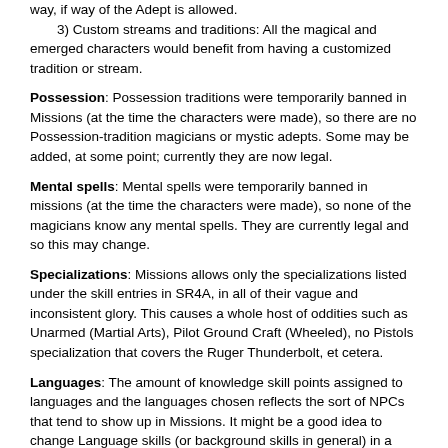way, if way of the Adept is allowed.
    3) Custom streams and traditions: All the magical and emerged characters would benefit from having a customized tradition or stream.
Possession: Possession traditions were temporarily banned in Missions (at the time the characters were made), so there are no Possession-tradition magicians or mystic adepts. Some may be added, at some point; currently they are now legal.
Mental spells: Mental spells were temporarily banned in missions (at the time the characters were made), so none of the magicians know any mental spells. They are currently legal and so this may change.
Specializations: Missions allows only the specializations listed under the skill entries in SR4A, in all of their vague and inconsistent glory. This causes a whole host of oddities such as Unarmed (Martial Arts), Pilot Ground Craft (Wheeled), no Pistols specialization that covers the Ruger Thunderbolt, et cetera.
Languages: The amount of knowledge skill points assigned to languages and the languages chosen reflects the sort of NPCs that tend to show up in Missions. It might be a good idea to change Language skills (or background skills in general) in a differently-themed game.
The Archetypes:
Archetypes Spreadsheet